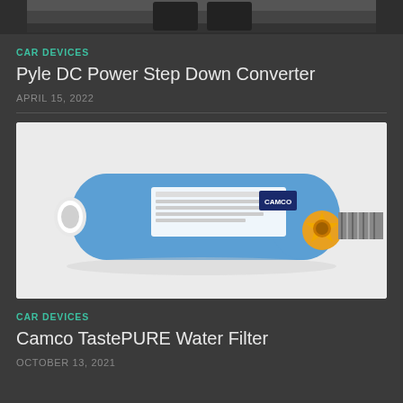[Figure (photo): Top partial image of a car device (dark colored device, cropped at top of page)]
CAR DEVICES
Pyle DC Power Step Down Converter
APRIL 15, 2022
[Figure (photo): Camco TastePURE Water Filter - blue cylindrical water filter with white cap on left end and a yellow star-shaped knob connector with silver corrugated hose on right end, white label on the body]
CAR DEVICES
Camco TastePURE Water Filter
OCTOBER 13, 2021